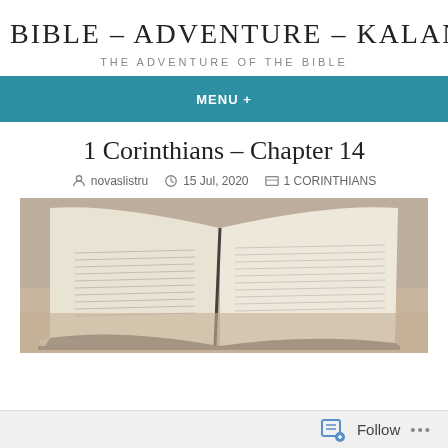BIBLE – ADVENTURE – KALANI
THE ADVENTURE OF THE BIBLE
MENU +
1 Corinthians – Chapter 14
novaslistru   15 Jul, 2020   1 CORINTHIANS
[Figure (photo): Open Bible resting on a stone surface outdoors, pages spread open showing text columns]
Follow  ...